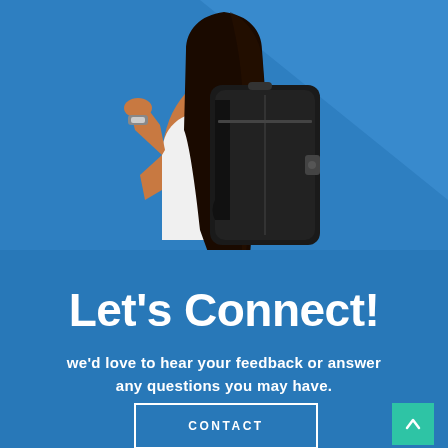[Figure (photo): Young woman from behind wearing a white t-shirt and carrying a large black backpack, with long dark hair, set against a blue background with a lighter diagonal band in the upper right]
Let's Connect!
we'd love to hear your feedback or answer any questions you may have.
CONTACT